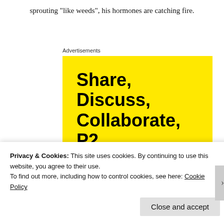sprouting “like weeds”, his hormones are catching fire.
Advertisements
[Figure (infographic): Yellow advertisement banner with bold black text reading 'Share, Discuss, Collaborate, P2.' and a WordPress logo at the bottom right with 'Powered by' text.]
Privacy & Cookies: This site uses cookies. By continuing to use this website, you agree to their use.
To find out more, including how to control cookies, see here: Cookie Policy
Close and accept